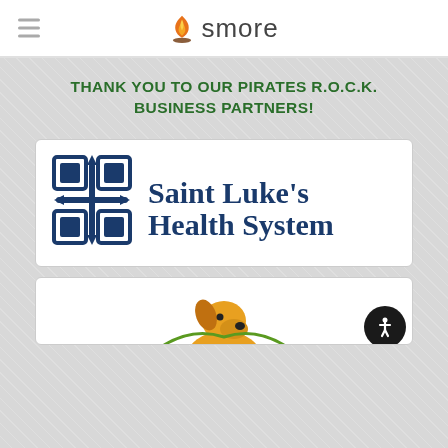smore
THANK YOU TO OUR PIRATES R.O.C.K. BUSINESS PARTNERS!
[Figure (logo): Saint Luke's Health System logo — blue cross/grid icon on left, text 'Saint Luke's Health System' in dark navy blue serif font on right]
[Figure (illustration): Partial view of a cartoon character illustration at the bottom of the page, partially cut off]